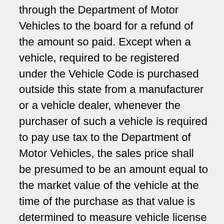through the Department of Motor Vehicles to the board for a refund of the amount so paid. Except when a vehicle, required to be registered under the Vehicle Code is purchased outside this state from a manufacturer or a vehicle dealer, whenever the purchaser of such a vehicle is required to pay use tax to the Department of Motor Vehicles, the sales price shall be presumed to be an amount equal to the market value of the vehicle at the time of the purchase as that value is determined to measure vehicle license fees imposed under Part 5 of Division 2 of the Revenue and Taxation Code, multiplied by a factor of 1.2 for a noncommercial vehicle, including a passenger vehicle, as defined in Section 465 of the Vehicle Code; or by a factor of 1.8 for a commercial vehicle as defined in Section 260 of the Vehicle Code. Commercial motor vehicles under 6,001 pounds but above eight and a